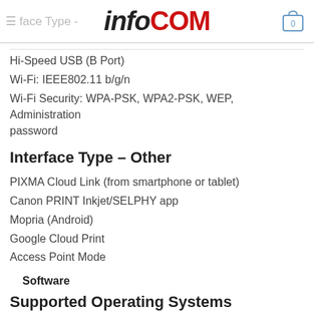infoCOM — Interface Type navigation header with cart icon
Hi-Speed USB (B Port)
Wi-Fi: IEEE802.11 b/g/n
Wi-Fi Security: WPA-PSK, WPA2-PSK, WEP, Administration password
Interface Type – Other
PIXMA Cloud Link (from smartphone or tablet)
Canon PRINT Inkjet/SELPHY app
Mopria (Android)
Google Cloud Print
Access Point Mode
Software
Supported Operating Systems
Windows...